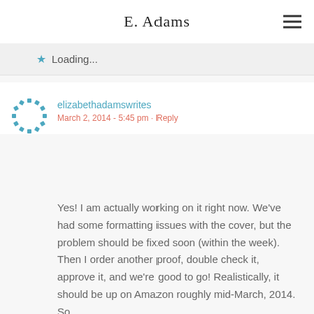E. Adams
Loading...
elizabethadamswrites
March 2, 2014 - 5:45 pm · Reply
Yes! I am actually working on it right now. We've had some formatting issues with the cover, but the problem should be fixed soon (within the week). Then I order another proof, double check it, approve it, and we're good to go! Realistically, it should be up on Amazon roughly mid-March, 2014. So